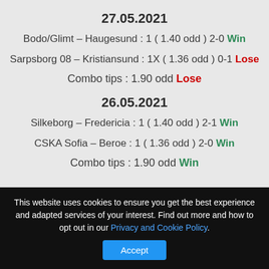27.05.2021
Bodo/Glimt – Haugesund : 1 ( 1.40 odd ) 2-0 Win
Sarpsborg 08 – Kristiansund : 1X ( 1.36 odd ) 0-1 Lose
Combo tips : 1.90 odd Lose
26.05.2021
Silkeborg – Fredericia : 1 ( 1.40 odd ) 2-1 Win
CSKA Sofia – Beroe : 1 ( 1.36 odd ) 2-0 Win
Combo tips : 1.90 odd Win
This website uses cookies to ensure you get the best experience and adapted services of your interest. Find out more and how to opt out in our Privacy and Cookie Policy.